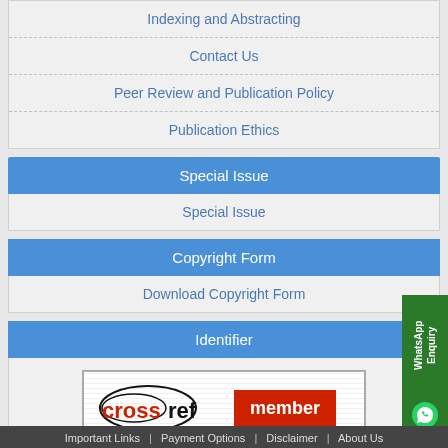Indexing and Abstracting
Contact Us
Peer Review and Publication Policy
Publication Ethics
Special Issue
Special Issue
Copyright Form
Download Copyright Form
Identifier
[Figure (logo): CrossRef member logo with text CROSSREF.ORG THE CITATION LINKING BACKBONE]
Important Links | Payment Options | Disclaimer | About Us